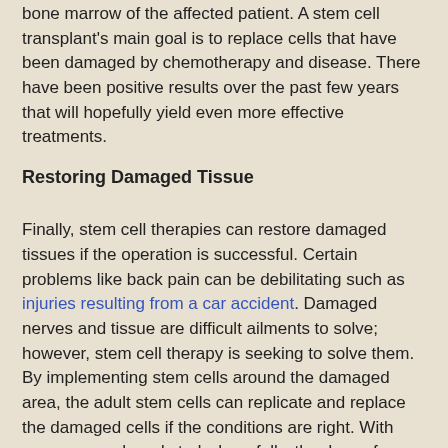bone marrow of the affected patient. A stem cell transplant's main goal is to replace cells that have been damaged by chemotherapy and disease. There have been positive results over the past few years that will hopefully yield even more effective treatments.
Restoring Damaged Tissue
Finally, stem cell therapies can restore damaged tissues if the operation is successful. Certain problems like back pain can be debilitating such as injuries resulting from a car accident. Damaged nerves and tissue are difficult ailments to solve; however, stem cell therapy is seeking to solve them. By implementing stem cells around the damaged area, the adult stem cells can replicate and replace the damaged cells if the conditions are right. With more research and study, hopefully, the days of taking pain medication to deal with pain are over: stem cell therapy is shaping up to be one of the solutions.
This is a guest blog entry.